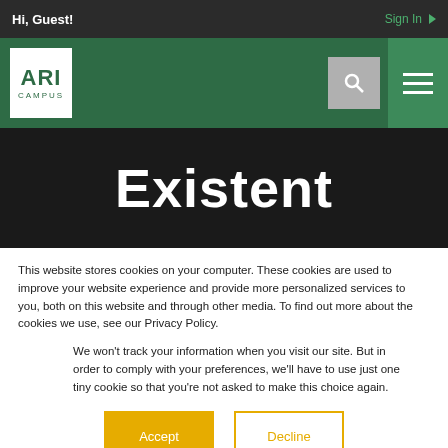Hi, Guest!
Sign In ▶
[Figure (logo): ARI Campus logo — white box with green ARI text and CAMPUS below]
Existent
This website stores cookies on your computer. These cookies are used to improve your website experience and provide more personalized services to you, both on this website and through other media. To find out more about the cookies we use, see our Privacy Policy.
We won't track your information when you visit our site. But in order to comply with your preferences, we'll have to use just one tiny cookie so that you're not asked to make this choice again.
Accept   Decline